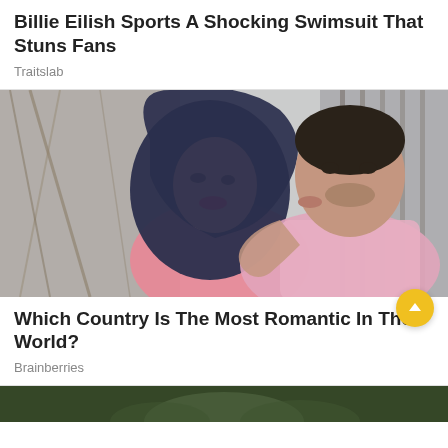Billie Eilish Sports A Shocking Swimsuit That Stuns Fans
Traitslab
[Figure (photo): A couple, a woman wearing a dark navy hijab and pink top and a man in a pink shirt, the man kissing the woman on the cheek, outdoors with bare branches in background]
Which Country Is The Most Romantic In The World?
Brainberries
[Figure (photo): Partial view of a person at the bottom of the page, cropped, with greenish background]